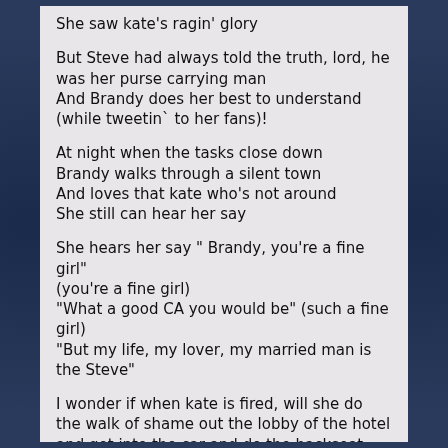She saw kate's ragin' glory
But Steve had always told the truth, lord, he was her purse carrying man
And Brandy does her best to understand (while tweetin` to her fans)!
At night when the tasks close down
Brandy walks through a silent town
And loves that kate who's not around
She still can hear her say
She hears her say " Brandy, you're a fine girl"
(you're a fine girl)
"What a good CA you would be" (such a fine girl)
"But my life, my lover, my married man is the Steve"
I wonder if when kate is fired, will she do the walk of shame out the lobby of the hotel and get into the car and do the backseat commentary? Bet dollars to donuts Steve will be sitting in the back with her out of frame.